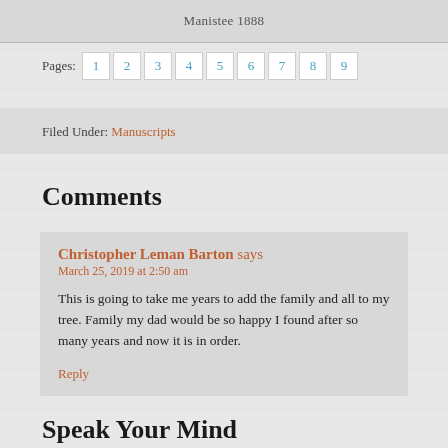Manistee 1888
Pages: 1 2 3 4 5 6 7 8 9
Filed Under: Manuscripts
Comments
Christopher Leman Barton says
March 25, 2019 at 2:50 am
This is going to take me years to add the family and all to my tree. Family my dad would be so happy I found after so many years and now it is in order.
Reply
Speak Your Mind